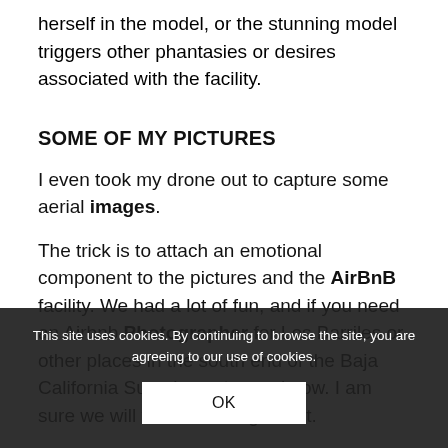herself in the model, or the stunning model triggers other phantasies or desires associated with the facility.
SOME OF MY PICTURES
I even took my drone out to capture some aerial images.
The trick is to attach an emotional component to the pictures and the AirBnB facility. We had a lot of fun, and if you need an Airbnb Photographer for Los Barriles or other places in the south end of the Baja California Sur, please let me know. I am sure we will find an arrangement.
This site uses cookies. By continuing to browse the site, you are agreeing to our use of cookies.